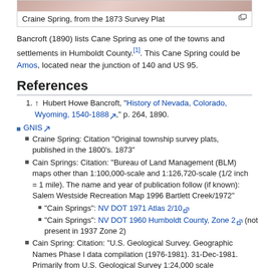Craine Spring, from the 1873 Survey Plat
Bancroft (1890) lists Cane Spring as one of the towns and settlements in Humboldt County.[1]. This Cane Spring could be Amos, located near the junction of 140 and US 95.
References
1. ↑ Hubert Howe Bancroft, "History of Nevada, Colorado, Wyoming, 1540-1888", p. 264, 1890.
GNIS
Craine Spring: Citation "Original township survey plats, published in the 1800's. 1873"
Cain Springs: Citation: "Bureau of Land Management (BLM) maps other than 1:100,000-scale and 1:126,720-scale (1/2 inch = 1 mile). The name and year of publication follow (if known): Salem Westside Recreation Map 1996 Bartlett Creek/1972"
"Cain Springs": NV DOT 1971 Atlas 2/10
"Cain Springs": NV DOT 1960 Humboldt County, Zone 2 (not present in 1937 Zone 2)
Cain Spring: Citation: "U.S. Geological Survey. Geographic Names Phase I data compilation (1976-1981). 31-Dec-1981. Primarily from U.S. Geological Survey 1:24,000 scale topographic maps (or 1:25K